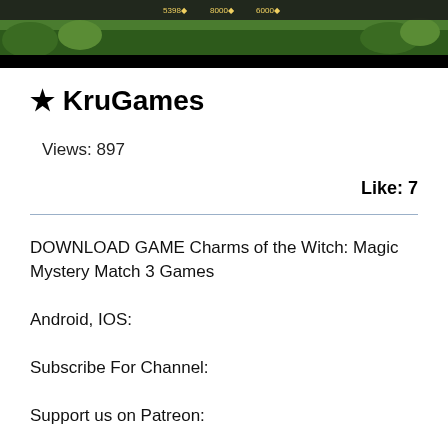[Figure (screenshot): Screenshot of a game with HUD elements showing resource counts at top, dark background with game scene]
★ KruGames
Views: 897
Like: 7
DOWNLOAD GAME Charms of the Witch: Magic Mystery Match 3 Games
Android, IOS:
Subscribe For Channel:
Support us on Patreon: